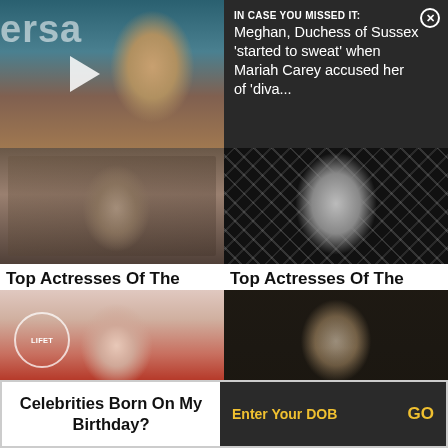[Figure (photo): Photo of a woman (Meghan Markle) with a video play button overlay, with partial 'ersa' text visible on left side]
[Figure (screenshot): Dark notification popup overlay reading: IN CASE YOU MISSED IT: Meghan, Duchess of Sussex 'started to sweat' when Mariah Carey accused her of 'diva...' with X close button]
[Figure (photo): Photo of a young woman, actress from the 1990s, in a TV/film still]
Top Actresses Of The 1990s
[Figure (photo): Black and white photo of a glamorous actress from the 1970s with diamond/chevron pattern backdrop]
Top Actresses Of The 1970s
[Figure (photo): Color photo of Natalie Portman in red dress with Lifetime circle logo]
Famous Beautiful
[Figure (photo): Black and white photo of Albert Einstein]
Famous Role Models You
Celebrities Born On My Birthday?
Enter Your DOB
GO